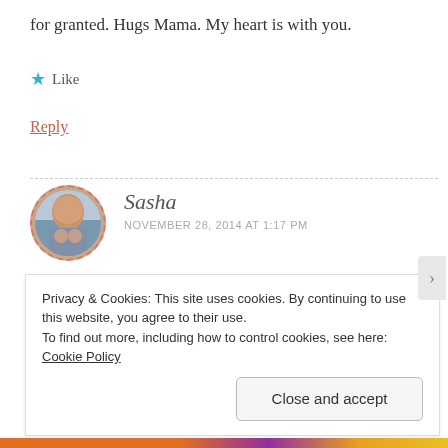for granted. Hugs Mama. My heart is with you.
Like
Reply
Sasha
NOVEMBER 28, 2014 AT 1:17 PM
Thanks Olivia! I have been soaking in each and every moment this past week! Pierce is doing great
Privacy & Cookies: This site uses cookies. By continuing to use this website, you agree to their use.
To find out more, including how to control cookies, see here: Cookie Policy
Close and accept